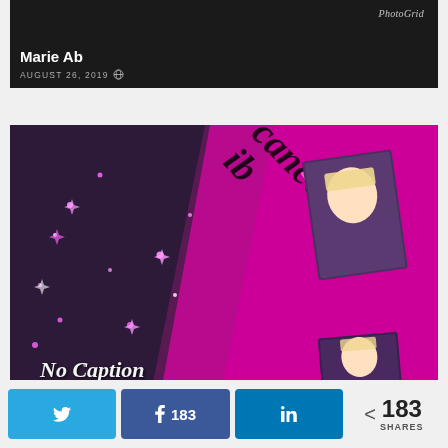[Figure (photo): Social media post header area with dark background, PhotoGrid watermark label top right, showing post by Marie Ab dated August 26, 2019 with globe icon]
[Figure (photo): Composite photo grid image with magenta/purple background, decorative cursive text overlay reading partial word diagonally, small photo of blonde woman inset top right and bottom right, large photo on left side, sparkle/star decorations, text 'No Caption' at bottom in white cursive]
[Figure (infographic): Share bar at bottom with Twitter button, Facebook button showing 183, LinkedIn button, and share count showing 183 SHARES]